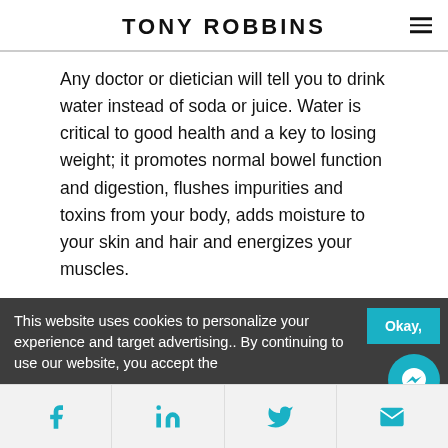TONY ROBBINS
Any doctor or dietician will tell you to drink water instead of soda or juice. Water is critical to good health and a key to losing weight; it promotes normal bowel function and digestion, flushes impurities and toxins from your body, adds moisture to your skin and hair and energizes your muscles.
Research shows that drinking water 30 minutes before eating aids in weight loss.
This website uses cookies to personalize your experience and target advertising.. By continuing to use our website, you accept the
[Figure (other): Facebook, LinkedIn, Twitter, and Email social share buttons in a bottom bar. Teal/cyan icon color on light gray background.]